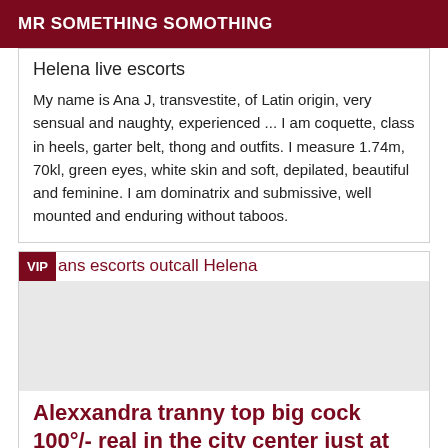MR SOMETHING SOMOTHING
Helena live escorts
My name is Ana J, transvestite, of Latin origin, very sensual and naughty, experienced ... I am coquette, class in heels, garter belt, thong and outfits. I measure 1.74m, 70kl, green eyes, white skin and soft, depilated, beautiful and feminine. I am dominatrix and submissive, well mounted and enduring without taboos.
Trans escorts outcall Helena
[Figure (photo): Image placeholder area for escort listing]
Alexxandra tranny top big cock 100°/- real in the city center just at the place hôtel de vil
Trans escorts outcall Helena